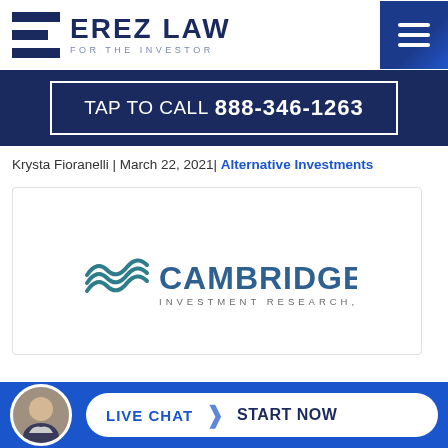[Figure (logo): Erez Law – For The Investor logo with stylized E graphic and hamburger menu icon]
TAP TO CALL 888-346-1263
Krysta Fioranelli | March 22, 2021| Alternative Investments
[Figure (logo): Cambridge Investment Research, Inc. logo]
[Figure (photo): Live Chat – Start Now button bar with attorney photo avatar]